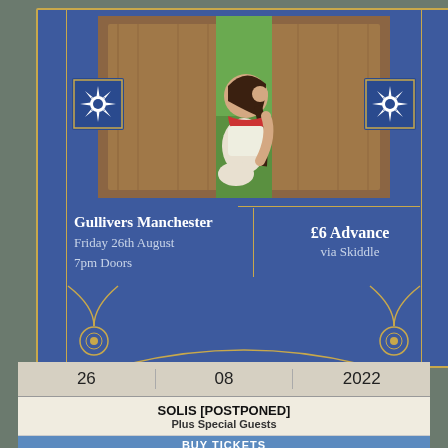[Figure (photo): Event poster for SOLIS at Gullivers Manchester. Shows a young woman seated in front of wooden doors with blue decorative tiles. Bottom half shows venue, date, time and ticket price info on blue background with gold art nouveau border.]
26   08   2022
SOLIS [POSTPONED]
Plus Special Guests
BUY TICKETS